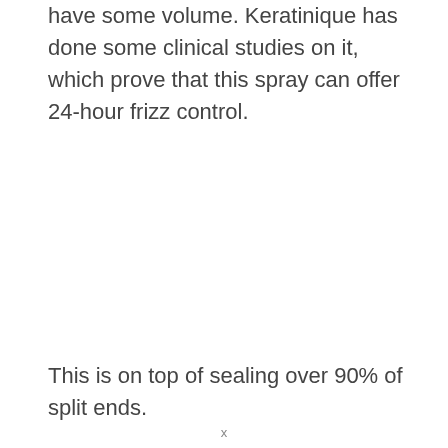have some volume. Keratinique has done some clinical studies on it, which prove that this spray can offer 24-hour frizz control.
This is on top of sealing over 90% of split ends.
x